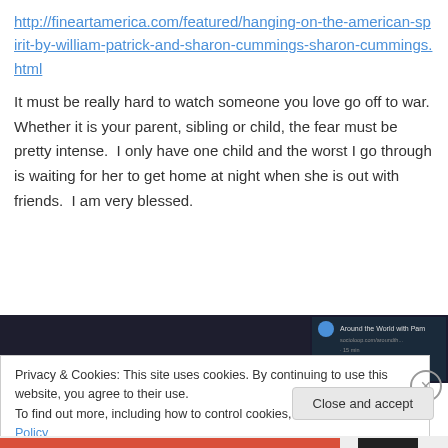http://fineartamerica.com/featured/hanging-on-the-american-spirit-by-william-patrick-and-sharon-cummings-sharon-cummings.html
It must be really hard to watch someone you love go off to war.  Whether it is your parent, sibling or child, the fear must be pretty intense.  I only have one child and the worst I go through is waiting for her to get home at night when she is out with friends.  I am very blessed.
[Figure (screenshot): Dark screenshot of a webpage with text 'Around the World with Pam' visible on the right side]
Privacy & Cookies: This site uses cookies. By continuing to use this website, you agree to their use.
To find out more, including how to control cookies, see here: Cookie Policy
Close and accept